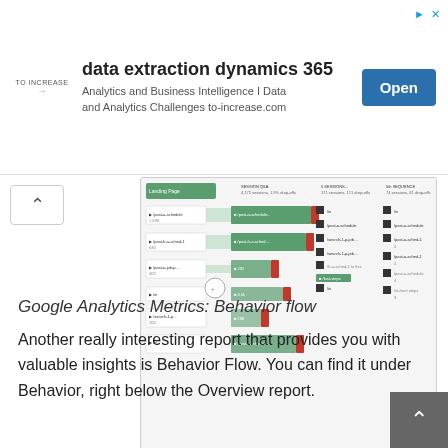[Figure (screenshot): Advertisement banner for 'data extraction dynamics 365' by TO INCREASE, with an Open button]
[Figure (screenshot): Google Analytics Behavior Flow report screenshot showing flow chart with green bars and connections]
Google Analytics Metrics: Behavior flow
Another really interesting report that provides you with valuable insights is Behavior Flow. You can find it under Behavior, right below the Overview report.